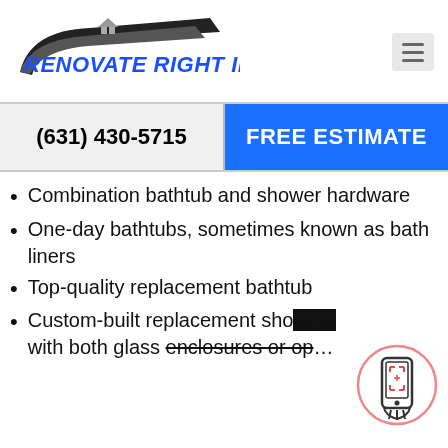[Figure (logo): Renovate Right Inc. logo with house icon and italic bold blue/dark text]
(631) 430-5715
FREE ESTIMATE
Combination bathtub and shower hardware
One-day bathtubs, sometimes known as bath liners
Top-quality replacement bathtub
Custom-built replacement sho… with both glass enclosures or op…
[Figure (illustration): Phone with QR scan icon in a circle overlay at bottom right]